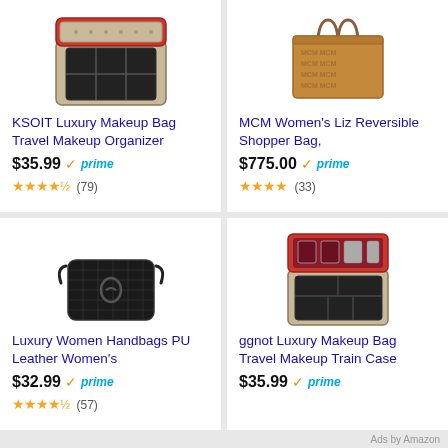[Figure (photo): KSOIT Luxury Makeup Bag open case with compartments, patterned exterior]
KSOIT Luxury Makeup Bag Travel Makeup Organizer
$35.99 prime ★★★★½ (79)
[Figure (photo): MCM Women's Liz Reversible Shopper Bag, brown tote bag]
MCM Women's Liz Reversible Shopper Bag,
$775.00 prime ★★★★ (33)
[Figure (photo): Black Luxury Women Handbag PU Leather crossbody bag]
Luxury Women Handbags PU Leather Women's
$32.99 prime ★★★★½ (57)
[Figure (photo): ggnot Luxury Makeup Bag travel train case open with red interior and compartments]
ggnot Luxury Makeup Bag Travel Makeup Train Case
$35.99 prime
Ads by Amazon